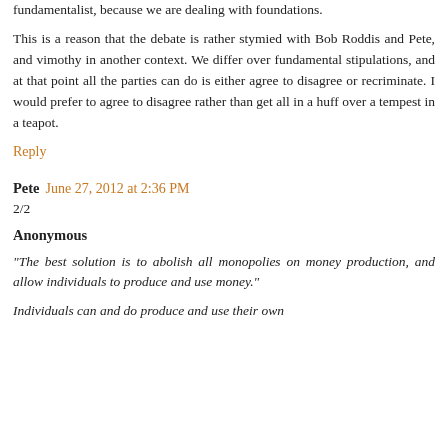fundamentalist, because we are dealing with foundations.
This is a reason that the debate is rather stymied with Bob Roddis and Pete, and vimothy in another context. We differ over fundamental stipulations, and at that point all the parties can do is either agree to disagree or recriminate. I would prefer to agree to disagree rather than get all in a huff over a tempest in a teapot.
Reply
Pete  June 27, 2012 at 2:36 PM
2/2
Anonymous
"The best solution is to abolish all monopolies on money production, and allow individuals to produce and use money."
Individuals can and do produce and use their own